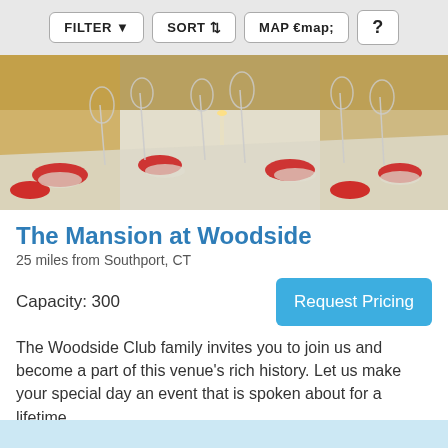FILTER  SORT  MAP  ?
[Figure (photo): Banquet table set with white tablecloth, red napkins, crystal glasses, and formal place settings in an elegant venue]
The Mansion at Woodside
25 miles from Southport, CT
Capacity: 300
Request Pricing
The Woodside Club family invites you to join us and become a part of this venue's rich history. Let us make your special day an event that is spoken about for a lifetime.
Country Club (+1)